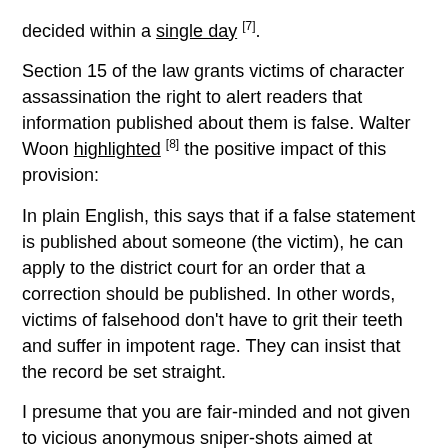decided within a single day [7].
Section 15 of the law grants victims of character assassination the right to alert readers that information published about them is false. Walter Woon highlighted [8] the positive impact of this provision:
In plain English, this says that if a false statement is published about someone (the victim), he can apply to the district court for an order that a correction should be published. In other words, victims of falsehood don't have to grit their teeth and suffer in impotent rage. They can insist that the record be set straight.
I presume that you are fair-minded and not given to vicious anonymous sniper-shots aimed at damaging other people's characters. In that case, you have nothing to fear. Only liars need worry.
Hri Kumar, a Member of Parliament, believes [9] the law won't suppress media freedom: